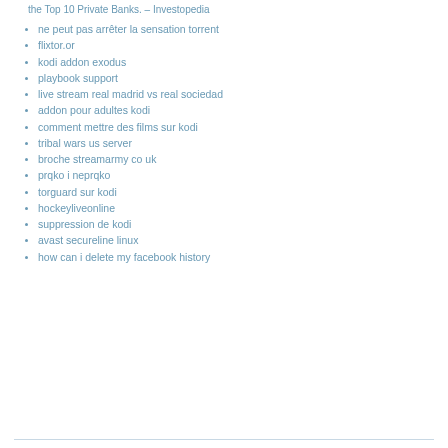the Top 10 Private Banks. – Investopedia
ne peut pas arrêter la sensation torrent
flixtor.or
kodi addon exodus
playbook support
live stream real madrid vs real sociedad
addon pour adultes kodi
comment mettre des films sur kodi
tribal wars us server
broche streamarmy co uk
prqko i neprqko
torguard sur kodi
hockeyliveonline
suppression de kodi
avast secureline linux
how can i delete my facebook history